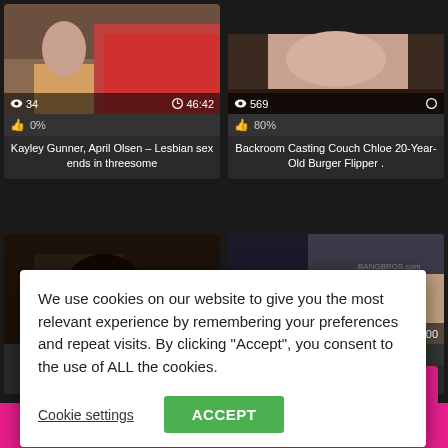[Figure (screenshot): Video thumbnail: two women on a couch, one in red top]
34
46:42
0%
Kayley Gunner, April Olsen – Lesbian sex ends in threesome
[Figure (screenshot): Video thumbnail: woman lying on table]
569
80%
Backroom Casting Couch Chloe 20-Year-Old Burger Flipper .
[Figure (screenshot): Video thumbnail: close-up scene]
[Figure (screenshot): Video thumbnail: inside vehicle scene, 05:00 duration]
0%
beauty pounded in bang bus
We use cookies on our website to give you the most relevant experience by remembering your preferences and repeat visits. By clicking “Accept”, you consent to the use of ALL the cookies.
Cookie settings
ACCEPT
Show more related videos